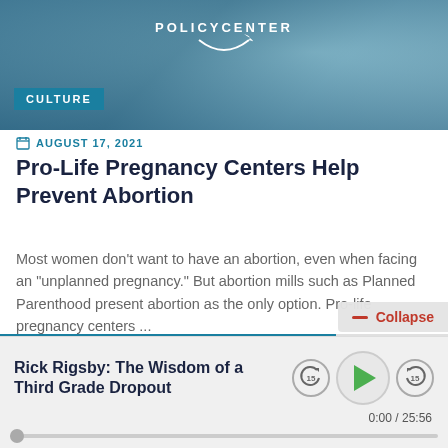[Figure (screenshot): Policy Center website header with teal/blue gradient background, POLICY CENTER logo with swoosh, and CULTURE badge]
AUGUST 17, 2021
Pro-Life Pregnancy Centers Help Prevent Abortion
Most women don't want to have an abortion, even when facing an "unplanned pregnancy." But abortion mills such as Planned Parenthood present abortion as the only option. Pro-life pregnancy centers ...
— Collapse
[Figure (screenshot): Audio player with title Rick Rigsby: The Wisdom of a Third Grade Dropout, play button, skip 15 seconds controls, time display 0:00 / 25:56 and progress bar]